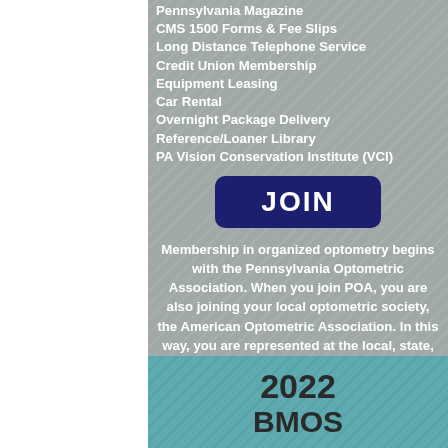Pennsylvania Magazine
CMS 1500 Forms & Fee Slips
Long Distance Telephone Service
Credit Union Membership
Equipment Leasing
Car Rental
Overnight Package Delivery
Reference/Loaner Library
PA Vision Conservation Institute (VCI)
JOIN
Membership in organized optometry begins with the Pennsylvania Optometric Association. When you join POA, you are also joining your local optometric society, the American Optometric Association. In this way, you are represented at the local, state, regional and national level and contribute to every aspect of your profession.
2022 BMOS